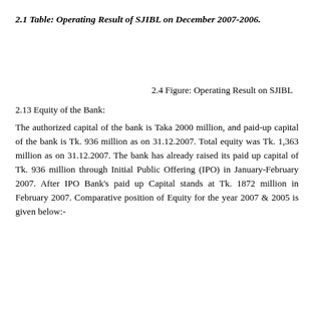2.1 Table: Operating Result of SJIBL on December 2007-2006.
2.4 Figure: Operating Result on SJIBL
2.13 Equity of the Bank:
The authorized capital of the bank is Taka 2000 million, and paid-up capital of the bank is Tk. 936 million as on 31.12.2007. Total equity was Tk. 1,363 million as on 31.12.2007. The bank has already raised its paid up capital of Tk. 936 million through Initial Public Offering (IPO) in January-February 2007. After IPO Bank's paid up Capital stands at Tk. 1872 million in February 2007. Comparative position of Equity for the year 2007 & 2005 is given below:-